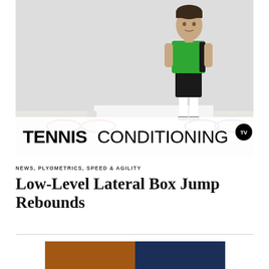[Figure (photo): Athlete in green sleeveless shirt and black shorts standing next to a low box platform with agility rings/circles, in front of a TENNIS CONDITIONING TV logo. The image promotes a fitness/conditioning exercise program.]
NEWS, PLYOMETRICS, SPEED & AGILITY
Low-Level Lateral Box Jump Rebounds
[Figure (photo): Partial bottom image visible, appears to show an indoor gym or court setting with orange and blue tones.]